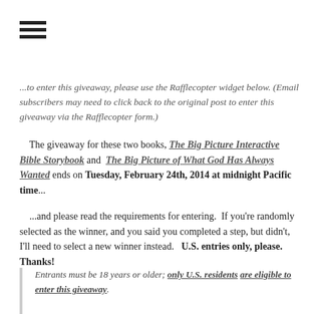[Figure (other): Hamburger menu icon — three horizontal black bars]
...to enter this giveaway, please use the Rafflecopter widget below. (Email subscribers may need to click back to the original post to enter this giveaway via the Rafflecopter form.)
The giveaway for these two books, The Big Picture Interactive Bible Storybook and The Big Picture of What God Has Always Wanted ends on Tuesday, February 24th, 2014 at midnight Pacific time...
...and please read the requirements for entering. If you're randomly selected as the winner, and you said you completed a step, but didn't, I'll need to select a new winner instead. U.S. entries only, please. Thanks!
Entrants must be 18 years or older; only U.S. residents are eligible to enter this giveaway.
I will select the winner of this prize using Random.org (via this Rafflecopter